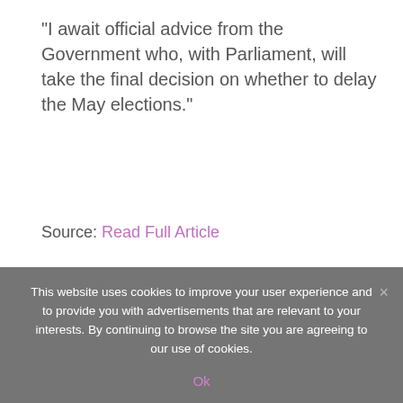“I await official advice from the Government who, with Parliament, will take the final decision on whether to delay the May elections.”
Source: Read Full Article
Related posts:
1. ‘Do what you’re paid to do!’ Carer Jacqui erupts at strikers ‘We got NOTHING!’
2. Playtime over Ferrari demands Patel and Truss ousted to get grown-ups deal with Russia
This website uses cookies to improve your user experience and to provide you with advertisements that are relevant to your interests. By continuing to browse the site you are agreeing to our use of cookies.
Ok